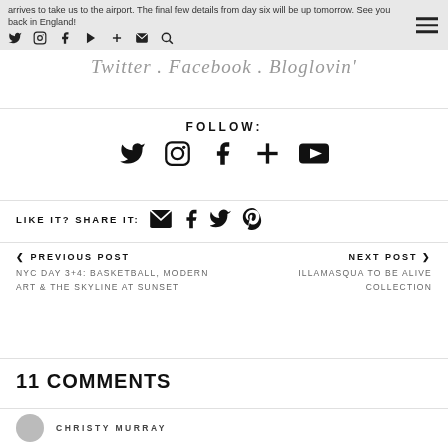arrives to take us to the airport. The final few details from day six will be up tomorrow. See you back in England!
Twitter . Facebook . Bloglovin'
FOLLOW:
LIKE IT? SHARE IT:
< PREVIOUS POST
NYC DAY 3+4: BASKETBALL, MODERN ART & THE SKYLINE AT SUNSET
NEXT POST >
ILLAMASQUA TO BE ALIVE COLLECTION
11 COMMENTS
CHRISTY MURRAY